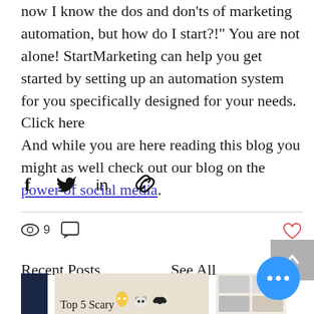now I know the dos and don'ts of marketing automation, but how do I start?!" You are not alone! StartMarketing can help you get started by setting up an automation system for you specifically designed for your needs. Click here And while you are here reading this blog you might as well check out our blog on the power of social media.
[Figure (infographic): Social share icons row: Facebook (f), Twitter bird, LinkedIn (in), chain/link icon]
[Figure (infographic): Horizontal divider line]
[Figure (infographic): Stats row: eye icon with count 9, comment bubble icon; heart/like icon on right; scroll-to-top grey button]
Recent Posts
See All
[Figure (infographic): Bottom preview area: dark navy block, beige card with 'Top 5 Scary' text and halloween icons (moon, ghosts, bats), light card with grid images; blue chat bubble with three dots overlay]